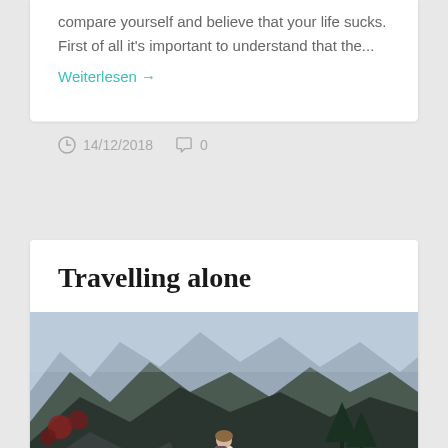compare yourself and believe that your life sucks. First of all it's important to understand that the...
Weiterlesen →
14/12/2018  0
Travelling alone
[Figure (photo): Woman with arms outstretched standing on rocky mountain landscape with dramatic mountain range and valley in background]